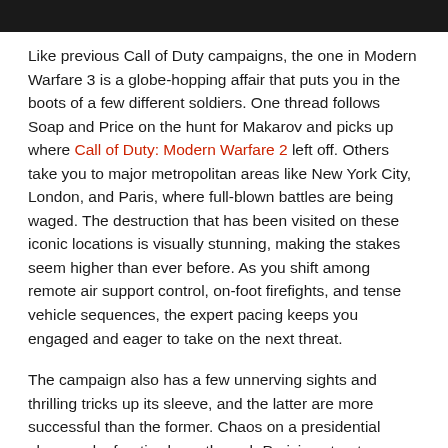Like previous Call of Duty campaigns, the one in Modern Warfare 3 is a globe-hopping affair that puts you in the boots of a few different soldiers. One thread follows Soap and Price on the hunt for Makarov and picks up where Call of Duty: Modern Warfare 2 left off. Others take you to major metropolitan areas like New York City, London, and Paris, where full-blown battles are being waged. The destruction that has been visited on these iconic locations is visually stunning, making the stakes seem higher than ever before. As you shift among remote air support control, on-foot firefights, and tense vehicle sequences, the expert pacing keeps you engaged and eager to take on the next threat.
The campaign also has a few unnerving sights and thrilling tricks up its sleeve, and the latter are more successful than the former. Chaos on a presidential plane and a frantic chase through Parisian streets are highlights, where environmental upheaval makes you feel like you are struggling for control in out-of-control situations. Other, quieter moments give you a chance to take in the carnage that these urban conflicts have caused, and seeing dead civilians who evidently perished while fleeing danger is affecting.
Unfortunately, Modern Warfare 3 takes a much more overt and